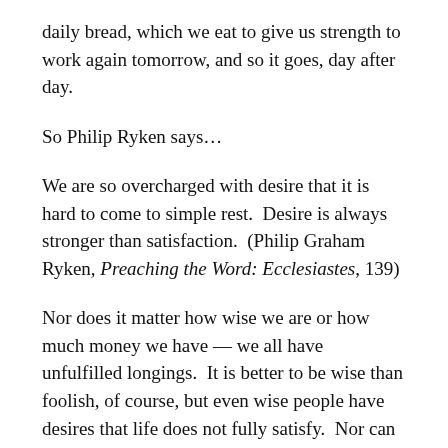daily bread, which we eat to give us strength to work again tomorrow, and so it goes, day after day.
So Philip Ryken says…
We are so overcharged with desire that it is hard to come to simple rest.  Desire is always stronger than satisfaction.  (Philip Graham Ryken, Preaching the Word: Ecclesiastes, 139)
Nor does it matter how wise we are or how much money we have — we all have unfulfilled longings.  It is better to be wise than foolish, of course, but even wise people have desires that life does not fully satisfy.  Nor can noble poverty deliver us from desire.  The poor man described in verse 8 is wise enough to know the right way to live.   That's a commendable virtue.  Yet even he cannot avoid all the disappointments that rich people have when